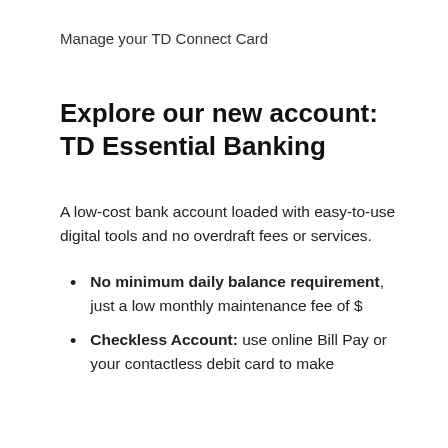Manage your TD Connect Card
Explore our new account: TD Essential Banking
A low-cost bank account loaded with easy-to-use digital tools and no overdraft fees or services.
No minimum daily balance requirement, just a low monthly maintenance fee of $
Checkless Account: use online Bill Pay or your contactless debit card to make